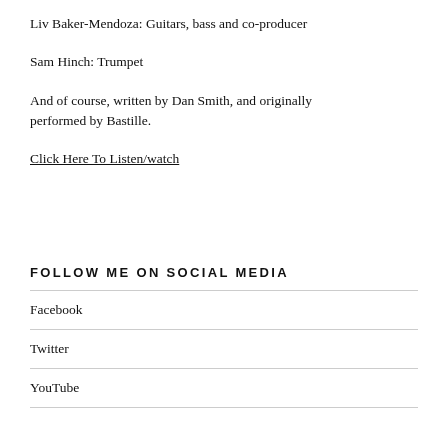Liv Baker-Mendoza: Guitars, bass and co-producer
Sam Hinch: Trumpet
And of course, written by Dan Smith, and originally performed by Bastille.
Click Here To Listen/watch
FOLLOW ME ON SOCIAL MEDIA
Facebook
Twitter
YouTube